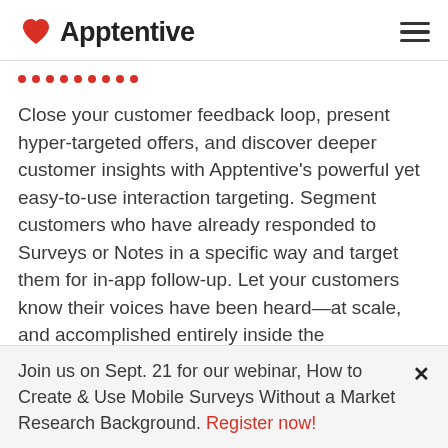Apptentive
[Figure (other): Row of nine red dots as a decorative separator]
Close your customer feedback loop, present hyper-targeted offers, and discover deeper customer insights with Apptentive's powerful yet easy-to-use interaction targeting. Segment customers who have already responded to Surveys or Notes in a specific way and target them for in-app follow-up. Let your customers know their voices have been heard—at scale, and accomplished entirely inside the [app/mobile interface]
Join us on Sept. 21 for our webinar, How to Create & Use Mobile Surveys Without a Market Research Background. Register now!